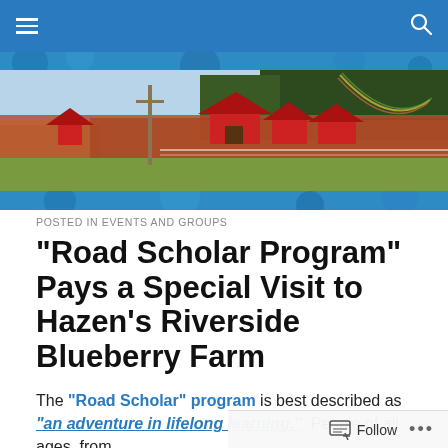Navigation bar with menu and search icons
[Figure (photo): Website header composite image showing a blueberry farm with red barns, fall foliage, and a rainbow, framed by blue decorative bands top and bottom]
POSTED IN EVENTS AND GROUPS
“Road Scholar Program” Pays a Special Visit to Hazen’s Riverside Blueberry Farm
The “Road Scholar” program is best described as “an adventure in lifelong learning.” People of all ages, from
Follow •••